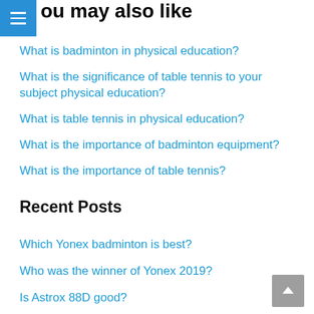ou may also like
What is badminton in physical education?
What is the significance of table tennis to your subject physical education?
What is table tennis in physical education?
What is the importance of badminton equipment?
What is the importance of table tennis?
Recent Posts
Which Yonex badminton is best?
Who was the winner of Yonex 2019?
Is Astrox 88D good?